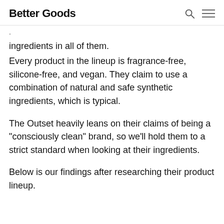Better Goods
ingredients in all of them.
Every product in the lineup is fragrance-free, silicone-free, and vegan. They claim to use a combination of natural and safe synthetic ingredients, which is typical.
The Outset heavily leans on their claims of being a "consciously clean" brand, so we'll hold them to a strict standard when looking at their ingredients.
Below is our findings after researching their product lineup.